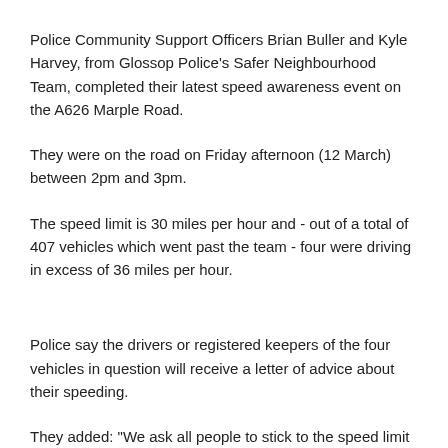Police Community Support Officers Brian Buller and Kyle Harvey, from Glossop Police's Safer Neighbourhood Team, completed their latest speed awareness event on the A626 Marple Road.
They were on the road on Friday afternoon (12 March) between 2pm and 3pm.
The speed limit is 30 miles per hour and - out of a total of 407 vehicles which went past the team - four were driving in excess of 36 miles per hour.
Police say the drivers or registered keepers of the four vehicles in question will receive a letter of advice about their speeding.
They added: "We ask all people to stick to the speed limit and respect our town and its residents.